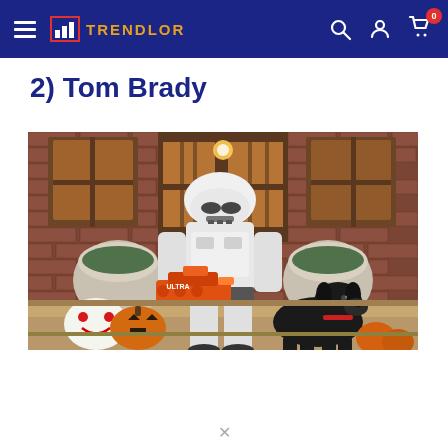TRENDLOR navigation bar
2) Tom Brady
[Figure (photo): Person dressed in a white Stormtrooper Halloween costume holding an orange Nerf gun, sitting on steps of a brick house with Halloween decorations including carved pumpkins and a clown-face painted pumpkin. A black dog stands to the right. Arched windows and large stone planters with greenery are visible in the background.]